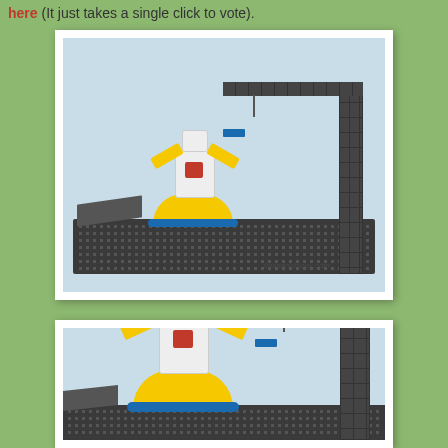here (It just takes a single click to vote).
[Figure (photo): Lego nanoblock model of a robot (Gundam-style) with yellow wings and red chest, placed on a dark grey baseplate with a grey construction crane tower and horizontal arm, with a blue block hanging from the crane hook. Watermark reads 'thisnanoblock.com'.]
[Figure (photo): Close-up view of the same Lego nanoblock Gundam robot model with yellow wings, red chest, white body on a yellow and blue base, with the grey crane tower and hanging blue block visible in the background.]